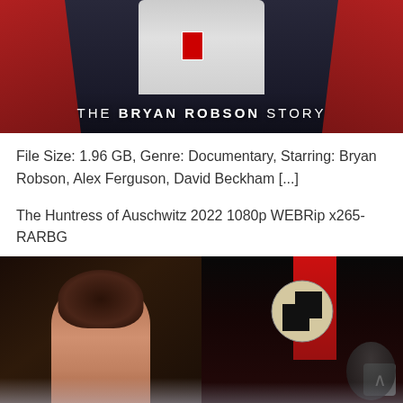[Figure (photo): Movie poster for 'The Bryan Robson Story' documentary showing a figure in white with a red armband against a dark background with red chairs]
File Size: 1.96 GB, Genre: Documentary, Starring: Bryan Robson, Alex Ferguson, David Beckham [...]
The Huntress of Auschwitz 2022 1080p WEBRip x265-RARBG
[Figure (photo): Movie poster for 'The Huntress of Auschwitz' showing a woman viewed from behind and a Nazi swastika banner with a figure in darkness]